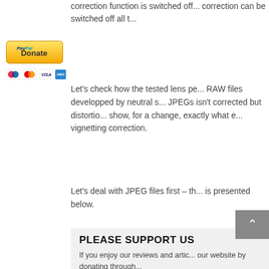[Figure (other): PayPal Donate button with payment card icons (Maestro, MasterCard, Visa, American Express) below it]
correction function is switched off... correction can be switched off all t...
Let's check how the tested lens pe... RAW files developped by neutral s... JPEGs isn't corrected but distortio... show, for a change, exactly what e... vignetting correction.
Let's deal with JPEG files first – th... is presented below.
PLEASE SUPPORT US
If you enjoy our reviews and artic... our website by donating through...